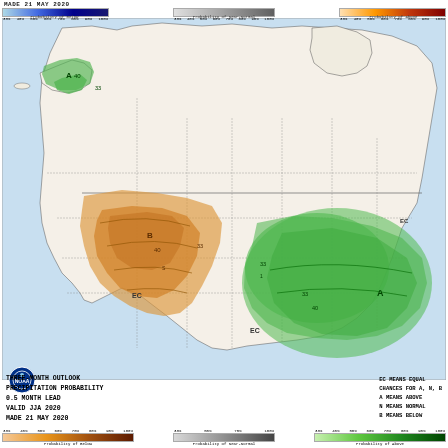MADE 21 MAY 2020
[Figure (map): NOAA Three-Month Outlook Precipitation Probability map of North America for JJA 2020. Shows below-normal precipitation probability (orange/brown) over western US and parts of Pacific Northwest, and above-normal precipitation probability (green) over Alaska, eastern US, and parts of central US. Equal chances (EC) shown in white/blank areas.]
THREE-MONTH OUTLOOK
PRECIPITATION PROBABILITY
0.5 MONTH LEAD
VALID JJA 2020
MADE 21 MAY 2020
EC MEANS EQUAL
CHANCES FOR A, N, B
A MEANS ABOVE
N MEANS NORMAL
B MEANS BELOW